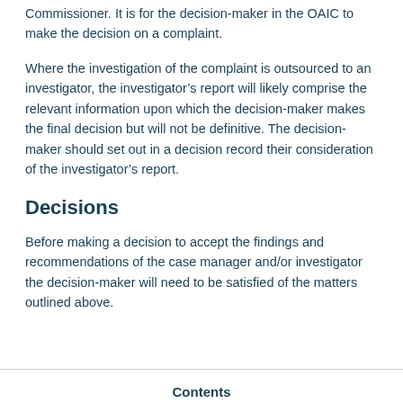Commissioner. It is for the decision-maker in the OAIC to make the decision on a complaint.
Where the investigation of the complaint is outsourced to an investigator, the investigator’s report will likely comprise the relevant information upon which the decision-maker makes the final decision but will not be definitive. The decision-maker should set out in a decision record their consideration of the investigator’s report.
Decisions
Before making a decision to accept the findings and recommendations of the case manager and/or investigator the decision-maker will need to be satisfied of the matters outlined above.
Contents